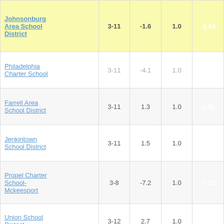| School/District | Grades | Col3 | Col4 | Score |
| --- | --- | --- | --- | --- |
| Johnsonburg Area School District | 3-11 | -1.6 | 1.0 | -1.64 |
| Philadelphia Charter School | 3-11 | -4.1 | 1.0 | -4.10 |
| Farrell Area School District | 3-11 | 1.3 | 1.0 | 1.30 |
| Jenkintown School District | 3-11 | 1.5 | 1.0 | 1.51 |
| Propel Charter School-Mckeesport | 3-8 | -7.2 | 1.0 | -7.15 |
| Union School District | 3-12 | 2.7 | 1.0 | 2.65 |
| Propel Charter School-Homestead | 3-11 | -1.0 | 1.0 | -0.97 |
| Propel Charter | 3-8 | 1.1 | 1.0 | -1.08 |